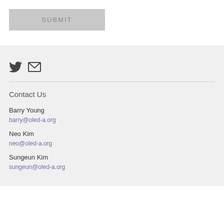SUBMIT
[Figure (other): Twitter bird icon and envelope/mail icon in dark gray]
Contact Us
Barry Young
barry@oled-a.org
Neo Kim
neo@oled-a.org
Sungeun Kim
sungeun@oled-a.org